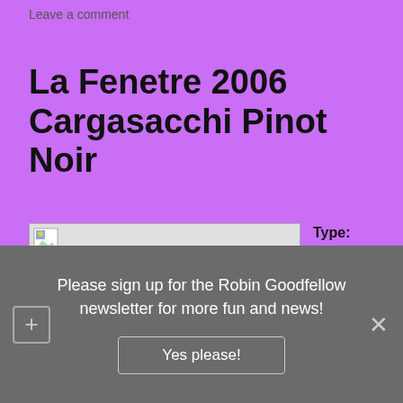Leave a comment
La Fenetre 2006 Cargasacchi Pinot Noir
[Figure (photo): Placeholder image (broken image icon) for wine bottle or label]
Type: Dry red
Made With: Pinot Noir
Please sign up for the Robin Goodfellow newsletter for more fun and news!
Yes please!